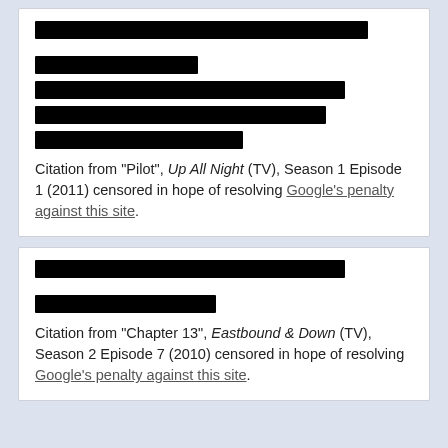[Figure (other): Black redaction bars covering text content in card 1]
Citation from "Pilot", Up All Night (TV), Season 1 Episode 1 (2011) censored in hope of resolving Google's penalty against this site.
[Figure (other): Black redaction bars covering text content in card 2]
Citation from "Chapter 13", Eastbound & Down (TV), Season 2 Episode 7 (2010) censored in hope of resolving Google's penalty against this site.